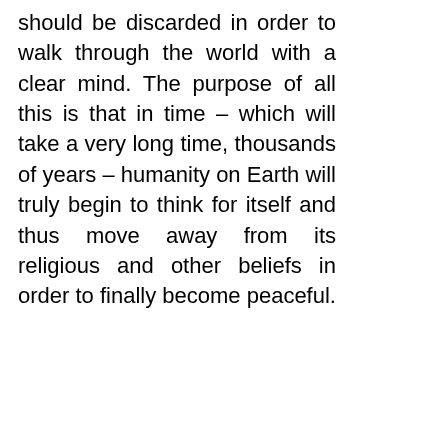should be discarded in order to walk through the world with a clear mind. The purpose of all this is that in time – which will take a very long time, thousands of years – humanity on Earth will truly begin to think for itself and thus move away from its religious and other beliefs in order to finally become peaceful.